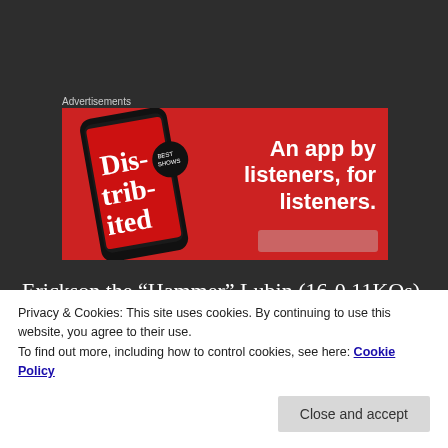Advertisements
[Figure (illustration): Advertisement banner with red background showing a smartphone with 'Distributed' text and the tagline 'An app by listeners, for listeners.']
Erickson the “Hammer” Lubin (16-0 11KOs) maintains his stellar perfect record, after a one-sided win against Ivan “Terrible” Mentore (20-2
Privacy & Cookies: This site uses cookies. By continuing to use this website, you agree to their use.
To find out more, including how to control cookies, see here: Cookie Policy
Close and accept